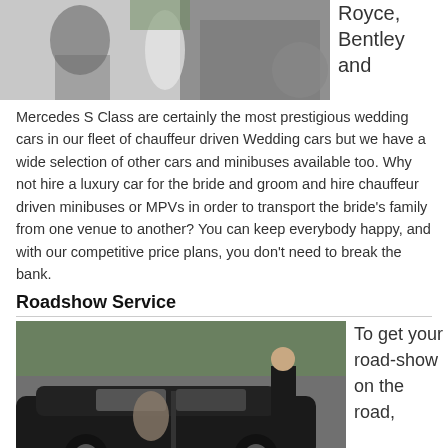[Figure (photo): Wedding car photo showing chauffeur and bride at a venue]
Royce, Bentley and Mercedes S Class are certainly the most prestigious wedding cars in our fleet of chauffeur driven Wedding cars but we have a wide selection of other cars and minibuses available too. Why not hire a luxury car for the bride and groom and hire chauffeur driven minibuses or MPVs in order to transport the bride's family from one venue to another? You can keep everybody happy, and with our competitive price plans, you don't need to break the bank.
Roadshow Service
[Figure (photo): Chauffeur opening door of black Mercedes S Class for a passenger]
To get your road-show on the road,